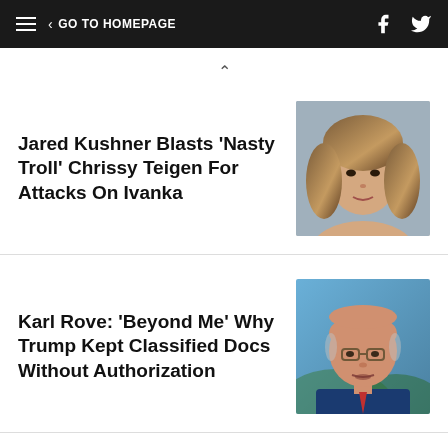GO TO HOMEPAGE
Jared Kushner Blasts 'Nasty Troll' Chrissy Teigen For Attacks On Ivanka
[Figure (photo): Portrait photo of Chrissy Teigen]
Karl Rove: 'Beyond Me' Why Trump Kept Classified Docs Without Authorization
[Figure (photo): Portrait photo of Karl Rove]